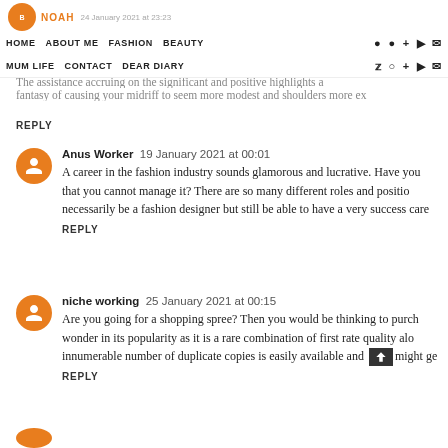NOAH | HOME | ABOUT ME | FASHION | BEAUTY | MUM LIFE | CONTACT | DEAR DIARY
The assistance accruing on the significant and positive highlights a...
fantasy of causing your midriff to seem more modest and shoulders more ex...
REPLY
Anus Worker  19 January 2021 at 00:01
A career in the fashion industry sounds glamorous and lucrative. Have you... that you cannot manage it? There are so many different roles and positions... necessarily be a fashion designer but still be able to have a very success care...
REPLY
niche working  25 January 2021 at 00:15
Are you going for a shopping spree? Then you would be thinking to purch... wonder in its popularity as it is a rare combination of first rate quality alo... innumerable number of duplicate copies is easily available and...might ge...
REPLY
25 January 2021 at 00:15